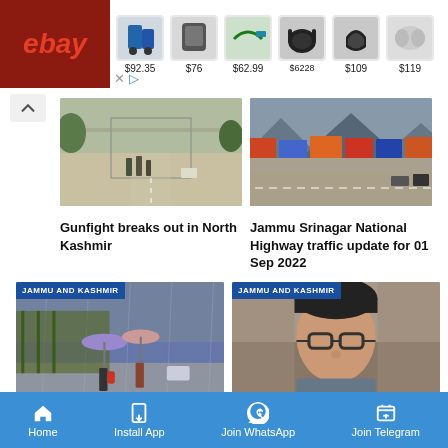[Figure (screenshot): eBay advertisement banner with product images and prices: $92.35, $76, $62.99, $62.28, $109, $119]
[Figure (photo): Street scene with police/security personnel in North Kashmir]
Gunfight breaks out in North Kashmir
[Figure (photo): Traffic jam with trucks on Jammu Srinagar National Highway]
Jammu Srinagar National Highway traffic update for 01 Sep 2022
[Figure (photo): Jammu and Kashmir - People with umbrellas walking in rain]
[Figure (photo): Jammu and Kashmir - Man with glasses at press event]
Home  Install App  Join WhatsApp  Join Telegram